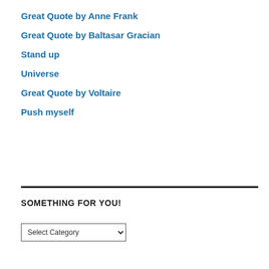Great Quote by Anne Frank
Great Quote by Baltasar Gracian
Stand up
Universe
Great Quote by Voltaire
Push myself
SOMETHING FOR YOU!
Select Category